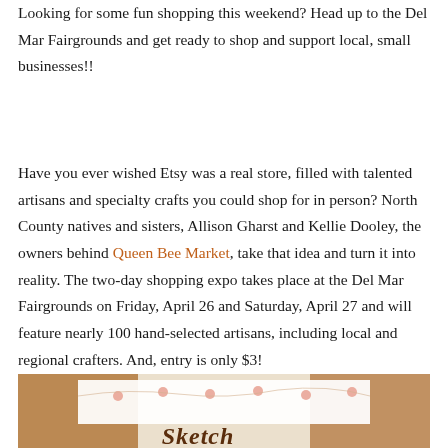Looking for some fun shopping this weekend? Head up to the Del Mar Fairgrounds and get ready to shop and support local, small businesses!!
Have you ever wished Etsy was a real store, filled with talented artisans and specialty crafts you could shop for in person? North County natives and sisters, Allison Gharst and Kellie Dooley, the owners behind Queen Bee Market, take that idea and turn it into reality. The two-day shopping expo takes place at the Del Mar Fairgrounds on Friday, April 26 and Saturday, April 27 and will feature nearly 100 hand-selected artisans, including local and regional crafters. And, entry is only $3!
[Figure (photo): Partial photo of a decorative display with burlap/cork background, white banner with pink/rose polka dots, and a script/cursive text beginning with 'Sketch...' at the bottom.]